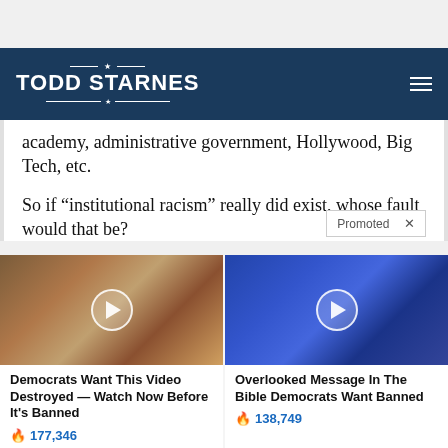TODD STARNES
academy, administrative government, Hollywood, Big Tech, etc.
So if “institutional racism” really did exist, whose fault would that be?
[Figure (photo): Video thumbnail showing a couple, man in suit with red tie, woman with long hair; play button overlay. Caption: Democrats Want This Video Destroyed — Watch Now Before It's Banned. 177,346 views.]
[Figure (photo): Video thumbnail showing an older Black man speaking on stage against blue background; play button overlay. Caption: Overlooked Message In The Bible Democrats Want Banned. 138,749 views.]
Democrats Want This Video Destroyed — Watch Now Before It's Banned
Overlooked Message In The Bible Democrats Want Banned
177,346
138,749